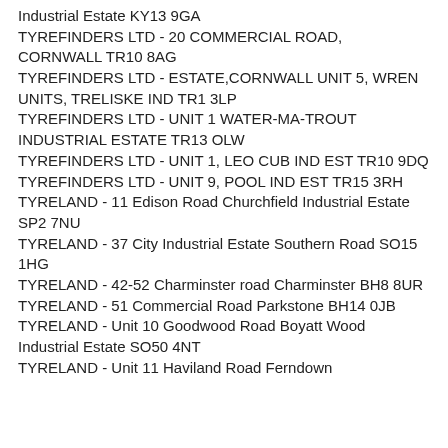Industrial Estate KY13 9GA
TYREFINDERS LTD - 20 COMMERCIAL ROAD, CORNWALL TR10 8AG
TYREFINDERS LTD - ESTATE,CORNWALL UNIT 5, WREN UNITS, TRELISKE IND TR1 3LP
TYREFINDERS LTD - UNIT 1 WATER-MA-TROUT INDUSTRIAL ESTATE TR13 OLW
TYREFINDERS LTD - UNIT 1, LEO CUB IND EST TR10 9DQ
TYREFINDERS LTD - UNIT 9, POOL IND EST TR15 3RH
TYRELAND - 11 Edison Road Churchfield Industrial Estate SP2 7NU
TYRELAND - 37 City Industrial Estate Southern Road SO15 1HG
TYRELAND - 42-52 Charminster road Charminster BH8 8UR
TYRELAND - 51 Commercial Road Parkstone BH14 0JB
TYRELAND - Unit 10 Goodwood Road Boyatt Wood Industrial Estate SO50 4NT
TYRELAND - Unit 11 Haviland Road Ferndown